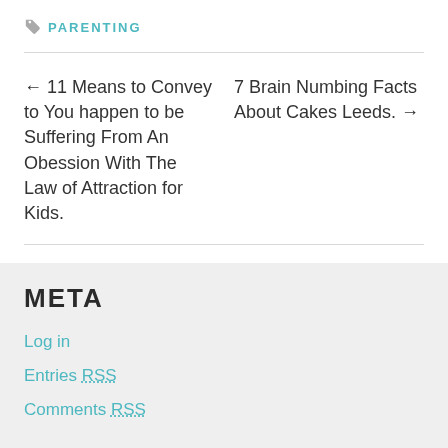PARENTING
← 11 Means to Convey to You happen to be Suffering From An Obession With The Law of Attraction for Kids.
7 Brain Numbing Facts About Cakes Leeds. →
META
Log in
Entries RSS
Comments RSS